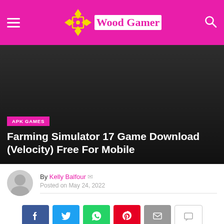Wood Gamer
[Figure (screenshot): Dark hero banner area for a blog post about Farming Simulator 17 Game Download]
APK GAMES
Farming Simulator 17 Game Download (Velocity) Free For Mobile
By Kelly Balfour
Posted on May 24, 2022
[Figure (infographic): Social share buttons: Facebook, Twitter, WhatsApp, Pinterest, Email, Comment]